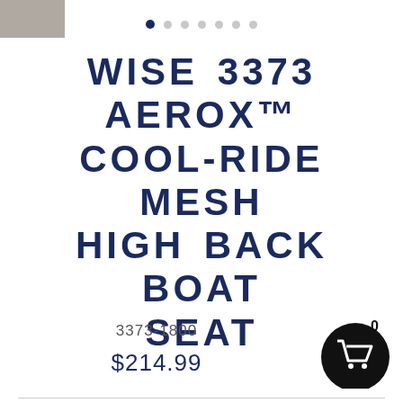[Figure (photo): Product thumbnail image in top-left corner, grey/stone color]
[Figure (other): Carousel dot indicators: 7 dots, first one filled dark navy, rest light grey]
WISE 3373 AEROX™ COOL-RIDE MESH HIGH BACK BOAT SEAT
3373-1800
$214.99
[Figure (other): Black circular shopping cart button with cart icon, number 0 badge]
COLOR  — Carbon X
[Figure (other): Dark carbon/grey color swatch circle with navy border ring]
QUANTITY